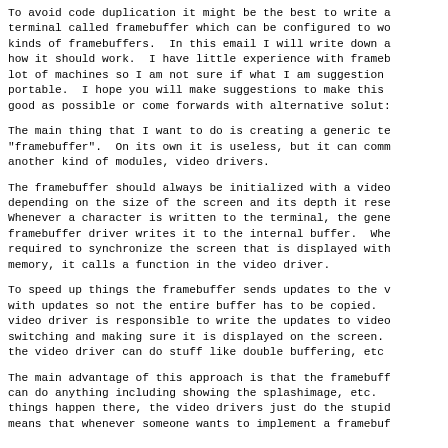To avoid code duplication it might be the best to write a terminal called framebuffer which can be configured to work with different kinds of framebuffers.  In this email I will write down a sketch of how it should work.  I have little experience with framebuffers on a lot of machines so I am not sure if what I am suggesting is portable.  I hope you will make suggestions to make this design as good as possible or come forwards with alternative solutions.
The main thing that I want to do is creating a generic terminal called "framebuffer".  On its own it is useless, but it can communicate with another kind of modules, video drivers.
The framebuffer should always be initialized with a video driver, and depending on the size of the screen and its depth it reserves memory. Whenever a character is written to the terminal, the generic framebuffer driver writes it to the internal buffer.  When it is required to synchronize the screen that is displayed with the internal memory, it calls a function in the video driver.
To speed up things the framebuffer sends updates to the video driver with updates so not the entire buffer has to be copied.  The video driver is responsible to write the updates to video memory, page switching and making sure it is displayed on the screen.  This way the video driver can do stuff like double buffering, etc
The main advantage of this approach is that the framebuffer driver can do anything including showing the splashimage, etc.  Let the smart things happen there, the video drivers just do the stupid work.  This means that whenever someone wants to implement a framebuffer driver they just need to implement the stupid part.